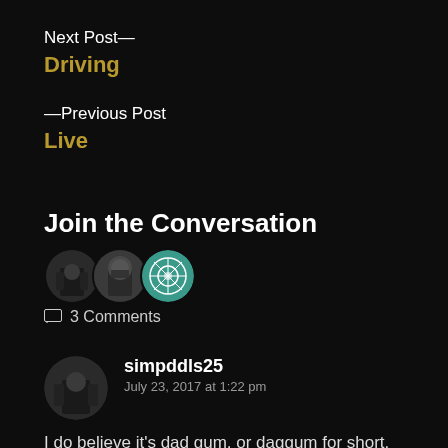Next Post—
Driving
—Previous Post
Live
Join the Conversation
[Figure (photo): Three overlapping circular user avatars]
3 Comments
simpddls25
July 23, 2017 at 1:22 pm
I do believe it's dad gum, or daggum for short. Dad gummit also works when frustrated.